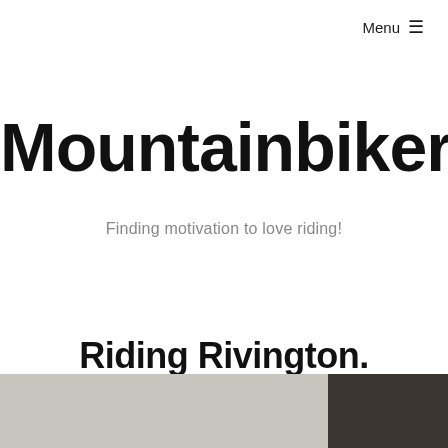Menu ☰
Mountainbiker
Finding motivation to love riding!
Riding Rivington.
[Figure (photo): Photo strip at the bottom of the page showing a dark mountain bike scene, partially visible]